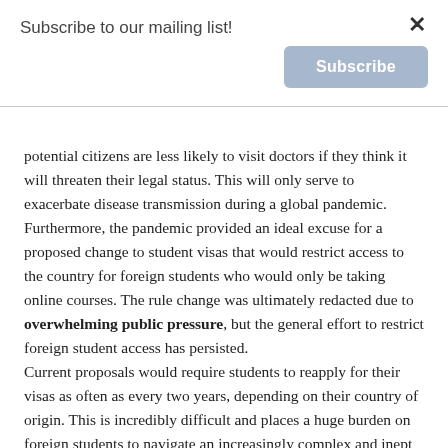Subscribe to our mailing list!
[Figure (other): Subscribe button (blue/grey rounded rectangle with white bold text 'Subscribe')]
potential citizens are less likely to visit doctors if they think it will threaten their legal status. This will only serve to exacerbate disease transmission during a global pandemic.
Furthermore, the pandemic provided an ideal excuse for a proposed change to student visas that would restrict access to the country for foreign students who would only be taking online courses. The rule change was ultimately redacted due to overwhelming public pressure, but the general effort to restrict foreign student access has persisted.
Current proposals would require students to reapply for their visas as often as every two years, depending on their country of origin. This is incredibly difficult and places a huge burden on foreign students to navigate an increasingly complex and inept immigration system.